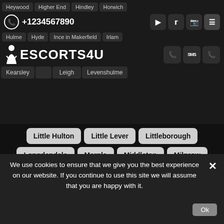Heywood | Higher End | Hindley | Horwich | +1234567890 | Hulme | Hyde | Ince in Makerfield | Irlam | ESCORTS4U | Kearsley | Leigh | Levenshulme
Little Hulton
Little Lever
Littleborough
Longdendale
Marple
Middleton
Milnrow
Monton
Mossley
Moston
Newhey
North West
Old Trafford
Oldham
Openshaw
Ordsall
Orrell
Partington
Patricroft
Pendlebury
Prestwich
Radcliffe
Ramsbottom
We use cookies to ensure that we give you the best experience on our website. If you continue to use this site we will assume that you are happy with it.